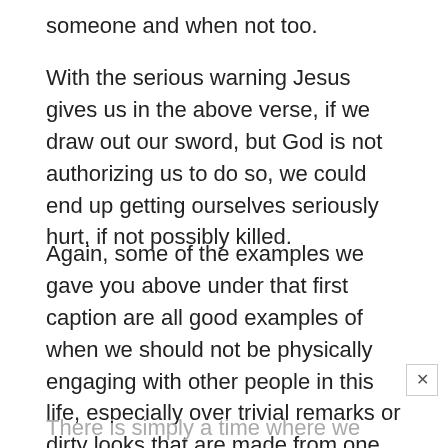someone and when not too.
With the serious warning Jesus gives us in the above verse, if we draw out our sword, but God is not authorizing us to do so, we could end up getting ourselves seriously hurt, if not possibly killed.
Again, some of the examples we gave you above under that first caption are all good examples of when we should not be physically engaging with other people in this life, especially over trivial remarks or dirty looks that are made from one to another.
There is simply a time where we have to turn the